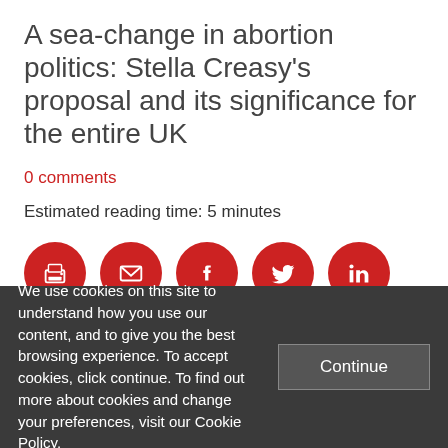A sea-change in abortion politics: Stella Creasy's proposal and its significance for the entire UK
0 comments
Estimated reading time: 5 minutes
[Figure (infographic): Row of five red circular social share buttons: print, email, Facebook, Twitter, LinkedIn]
We use cookies on this site to understand how you use our content, and to give you the best browsing experience. To accept cookies, click continue. To find out more about cookies and change your preferences, visit our Cookie Policy.